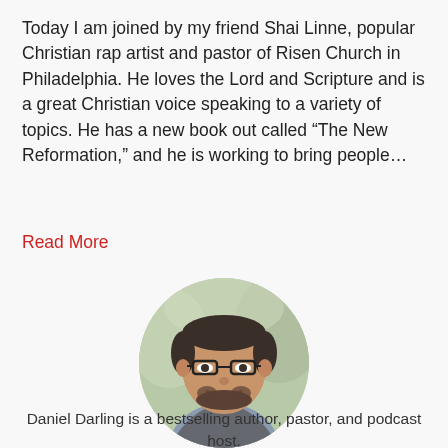Today I am joined by my friend Shai Linne, popular Christian rap artist and pastor of Risen Church in Philadelphia. He loves the Lord and Scripture and is a great Christian voice speaking to a variety of topics. He has a new book out called “The New Reformation,” and he is working to bring people…
Read More
[Figure (photo): Circular portrait photo of Daniel Darling, a man with glasses, short dark hair, and a beard, smiling, wearing a grey sweater over a light blue shirt, with a blurred outdoor background.]
Daniel Darling is a bestselling author, pastor, and podcast host.